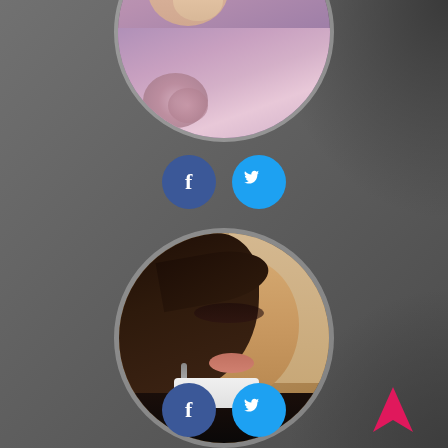[Figure (photo): Circular profile photo (partially cropped at top) showing a person in purple/pink floral clothing with dark hair]
[Figure (illustration): Two social media buttons: Facebook (dark blue circle with 'f') and Twitter (light blue circle with bird icon)]
[Figure (photo): Circular profile photo of a woman with brown hair, defined makeup, looking slightly downward, wearing dark clothing]
[Figure (illustration): Two social media buttons: Facebook (dark blue circle with 'f') and Twitter (light blue circle with bird icon), and a pink/magenta navigation arrow in bottom right]